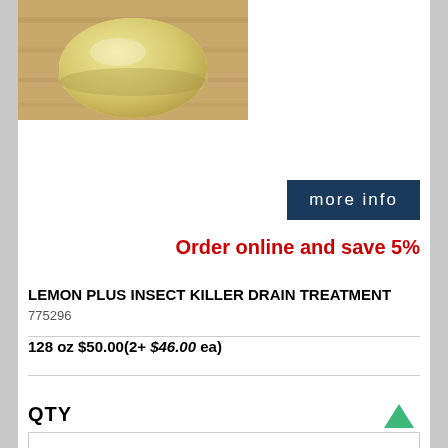[Figure (photo): Product photo of a yellowish round soap/gel product on a wooden surface]
more info
Order online and save 5%
LEMON PLUS INSECT KILLER DRAIN TREATMENT
775296
128 oz $50.00(2+ $46.00 ea)
QTY
1